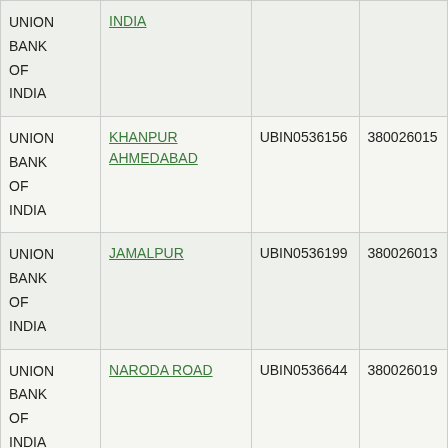| Bank Name | Branch | IFSC Code | MICR Code |
| --- | --- | --- | --- |
| UNION BANK OF INDIA | INDIA |  |  |
| UNION BANK OF INDIA | KHANPUR AHMEDABAD | UBIN0536156 | 380026015 |
| UNION BANK OF INDIA | JAMALPUR | UBIN0536199 | 380026013 |
| UNION BANK OF INDIA | NARODA ROAD | UBIN0536644 | 380026019 |
| UNION BANK OF INDIA | ASHRAM ROAD AHMEDABAD | UBIN0537209 | 380026003 |